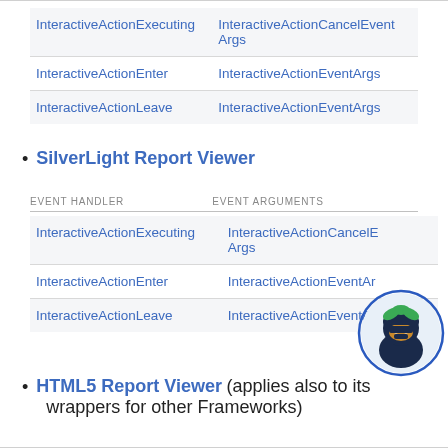| EVENT HANDLER | EVENT ARGUMENTS |
| --- | --- |
| InteractiveActionExecuting | InteractiveActionCancelEventArgs |
| InteractiveActionEnter | InteractiveActionEventArgs |
| InteractiveActionLeave | InteractiveActionEventArgs |
SilverLight Report Viewer
| EVENT HANDLER | EVENT ARGUMENTS |
| --- | --- |
| InteractiveActionExecuting | InteractiveActionCancelEventArgs |
| InteractiveActionEnter | InteractiveActionEventArgs |
| InteractiveActionLeave | InteractiveActionEventArgs |
HTML5 Report Viewer (applies also to its wrappers for other Frameworks)